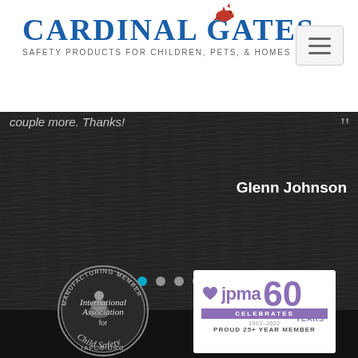Cardinal Gates - Safety Products for Children, Pets, & Homes
[Figure (screenshot): Cardinal Gates website screenshot showing logo at top, a dark testimonial slider with text 'couple more. Thanks!' attributed to Glenn Johnson, carousel navigation dots, and two membership badges: International Association for Child Safety (IAFCS) and JPMA 60 Years Celebrates 1962-2022 Proud 25+ Year Member]
couple more. Thanks!
Glenn Johnson
[Figure (logo): International Association for Child Safety - Manufacturing Member badge, circular seal with IAFCS.ORG]
[Figure (logo): JPMA 60 Celebrates 1962-2022 Proud 25+ Year Member logo in purple]